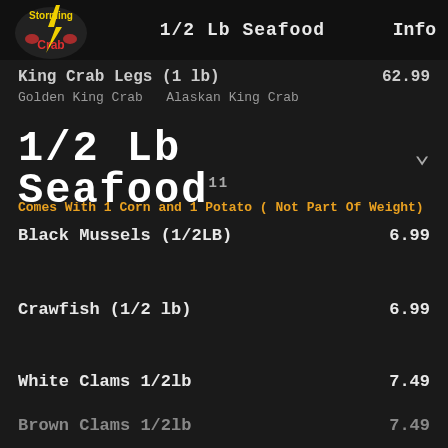1/2 Lb Seafood   Info
[Figure (logo): Storming Crab restaurant logo with lightning bolt]
King Crab Legs (1 lb)   62.99
Golden King Crab   Alaskan King Crab
1/2 Lb Seafood
Comes With 1 Corn and 1 Potato ( Not Part Of Weight)
Black Mussels (1/2LB)   6.99
Crawfish (1/2 lb)   6.99
White Clams 1/2lb   7.49
Brown Clams 1/2lb   7.49